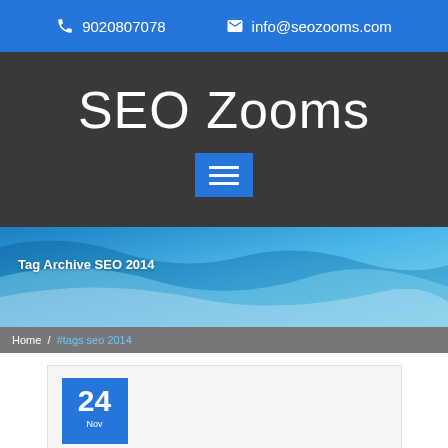📞 9020807078  ✉ info@seozooms.com
SEO Zooms
[Figure (other): Hamburger menu button (blue square with three white horizontal lines)]
[Figure (illustration): Blue wave abstract hero banner background]
Tag Archive SEO 2014
Home / #tags seo 2014
24